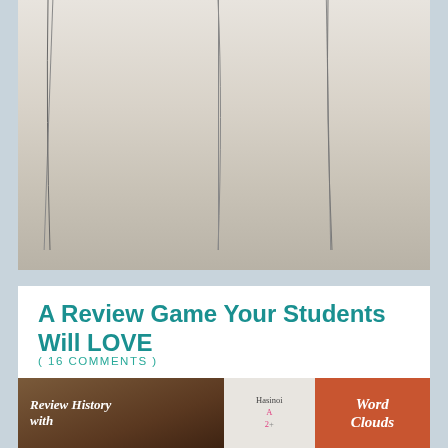[Figure (photo): Photo of a whiteboard with curved lines drawn on it, viewed from below]
A Review Game Your Students Will LOVE
( 16 COMMENTS )
This review competition is NO PREP and can take as few as 5 minutes or as many as 15, it depends on if you ask follow-up questions and how in depth the students' responses get. I start by writing the main topics we studied on the board. Each is [...]
[Figure (photo): Partial image showing 'Review History with' text on dark brown background and 'Word Clouds' text on orange-red background, with handwritten notes in the middle]